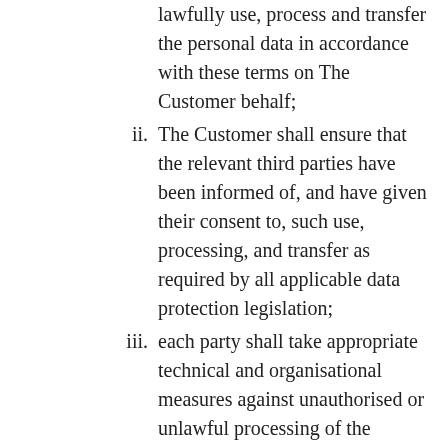lawfully use, process and transfer the personal data in accordance with these terms on The Customer behalf;
ii. The Customer shall ensure that the relevant third parties have been informed of, and have given their consent to, such use, processing, and transfer as required by all applicable data protection legislation;
iii. each party shall take appropriate technical and organisational measures against unauthorised or unlawful processing of the personal data or its accidental loss, destruction or damage